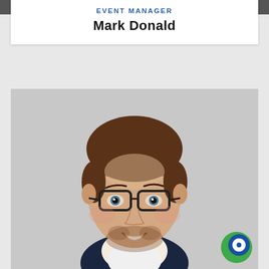EVENT MANAGER
Mark Donald
[Figure (photo): Professional headshot of Mark Donald, a young man with short brown hair, glasses, beard, smiling, wearing a dark navy blazer over a white shirt, against a light grey background.]